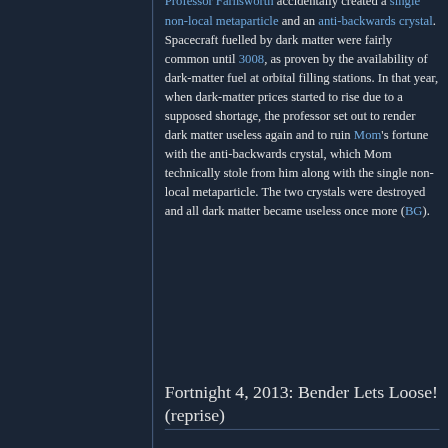Professor Farnsworth accidentally created a single non-local metaparticle and an anti-backwards crystal. Spacecraft fuelled by dark matter were fairly common until 3008, as proven by the availability of dark-matter fuel at orbital filling stations. In that year, when dark-matter prices started to rise due to a supposed shortage, the professor set out to render dark matter useless again and to ruin Mom's fortune with the anti-backwards crystal, which Mom technically stole from him along with the single non-local metaparticle. The two crystals were destroyed and all dark matter became useless once more (BG).
Fortnight 4, 2013: Bender Lets Loose! (reprise)